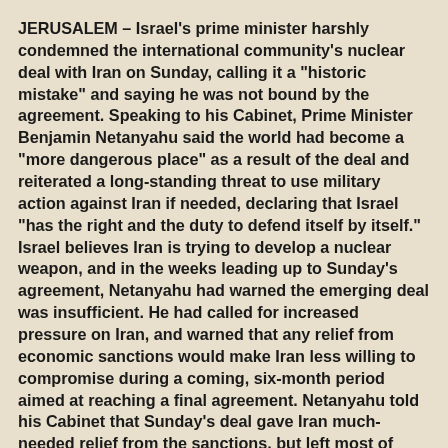JERUSALEM – Israel's prime minister harshly condemned the international community's nuclear deal with Iran on Sunday, calling it a "historic mistake" and saying he was not bound by the agreement. Speaking to his Cabinet, Prime Minister Benjamin Netanyahu said the world had become a "more dangerous place" as a result of the deal and reiterated a long-standing threat to use military action against Iran if needed, declaring that Israel "has the right and the duty to defend itself by itself." Israel believes Iran is trying to develop a nuclear weapon, and in the weeks leading up to Sunday's agreement, Netanyahu had warned the emerging deal was insufficient. He had called for increased pressure on Iran, and warned that any relief from economic sanctions would make Iran less willing to compromise during a coming, six-month period aimed at reaching a final agreement. Netanyahu told his Cabinet that Sunday's deal gave Iran much-needed relief from the sanctions, but left most of Iran's nuclear infrastructure intact, leaving it with